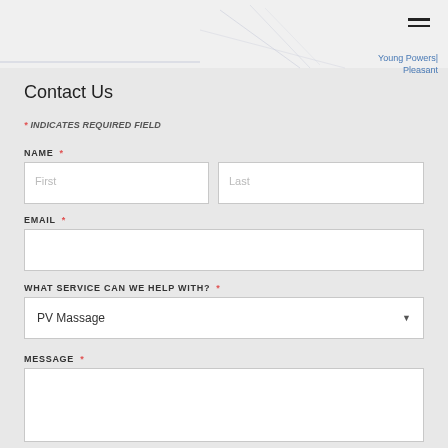Young Powers| Pleasant
Contact Us
* INDICATES REQUIRED FIELD
NAME *
First
Last
EMAIL *
WHAT SERVICE CAN WE HELP WITH? *
PV Massage
MESSAGE *